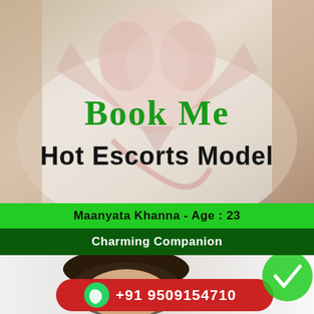[Figure (photo): Person wearing white t-shirt with owl/skull tattoo-style illustration, overlaid with green 'Book Me' text and black 'Hot Escorts Model' text]
Maanyata Khanna - Age : 23
Charming Companion
[Figure (photo): Portrait photo of a woman with dark hair, with a red rounded rectangle overlay showing WhatsApp icon and phone number +91 9509154710, and a green checkmark circle on the right]